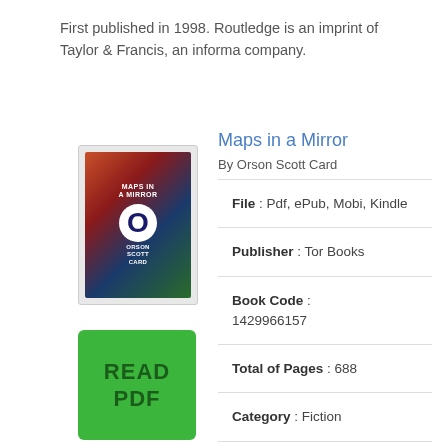First published in 1998. Routledge is an imprint of Taylor & Francis, an informa company.
[Figure (illustration): Book cover thumbnail for Maps in a Mirror by Orson Scott Card]
[Figure (other): Green READ PDF button]
Maps in a Mirror
By Orson Scott Card
File : Pdf, ePub, Mobi, Kindle
Publisher : Tor Books
Book Code : 1429966157
Total of Pages : 688
Category : Fiction